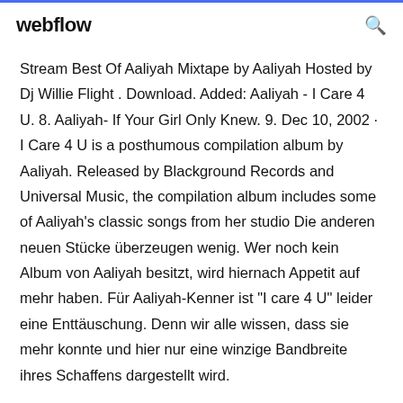webflow
Stream Best Of Aaliyah Mixtape by Aaliyah Hosted by Dj Willie Flight . Download. Added: Aaliyah - I Care 4 U. 8. Aaliyah- If Your Girl Only Knew. 9. Dec 10, 2002 · I Care 4 U is a posthumous compilation album by Aaliyah. Released by Blackground Records and Universal Music, the compilation album includes some of Aaliyah's classic songs from her studio Die anderen neuen Stücke überzeugen wenig. Wer noch kein Album von Aaliyah besitzt, wird hiernach Appetit auf mehr haben. Für Aaliyah-Kenner ist "I care 4 U" leider eine Enttäuschung. Denn wir alle wissen, dass sie mehr konnte und hier nur eine winzige Bandbreite ihres Schaffens dargestellt wird.